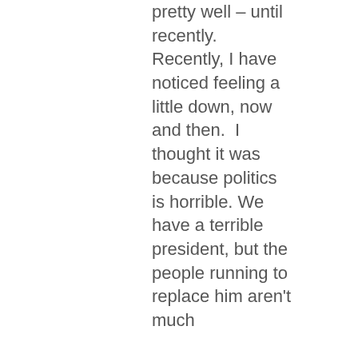pretty well – until recently. Recently, I have noticed feeling a little down, now and then.  I thought it was because politics is horrible. We have a terrible president, but the people running to replace him aren't much